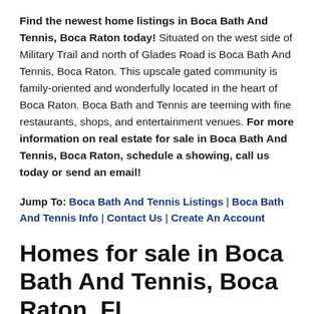Find the newest home listings in Boca Bath And Tennis, Boca Raton today! Situated on the west side of Military Trail and north of Glades Road is Boca Bath And Tennis, Boca Raton. This upscale gated community is family-oriented and wonderfully located in the heart of Boca Raton. Boca Bath and Tennis are teeming with fine restaurants, shops, and entertainment venues. For more information on real estate for sale in Boca Bath And Tennis, Boca Raton, schedule a showing, call us today or send an email!
Jump To: Boca Bath And Tennis Listings | Boca Bath And Tennis Info | Contact Us | Create An Account
Homes for sale in Boca Bath And Tennis, Boca Raton, FL